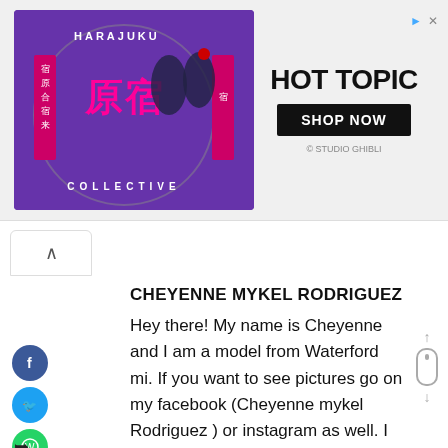[Figure (screenshot): Hot Topic advertisement banner featuring Harajuku Collective branding with two costumed figures on a purple background, and Hot Topic logo with SHOP NOW button on the right]
CHEYENNE MYKEL RODRIGUEZ
Hey there! My name is Cheyenne and I am a model from Waterford mi. If you want to see pictures go on my facebook (Cheyenne mykel Rodriguez ) or instagram as well. I have no acting experience but I am a quick learner and think I'd do great at it. I'm outgoing and motivated.
Height: 5'3
Waist: 32 "